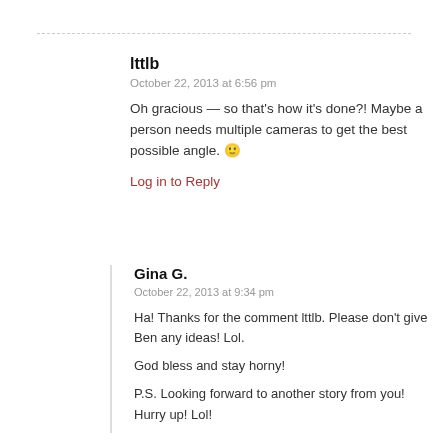lttlb
October 22, 2013 at 6:56 pm
Oh gracious — so that's how it's done?! Maybe a person needs multiple cameras to get the best possible angle. 🙂
Log in to Reply
Gina G.
October 22, 2013 at 9:34 pm
Ha! Thanks for the comment lttlb. Please don't give Ben any ideas! Lol.
God bless and stay horny!
P.S. Looking forward to another story from you! Hurry up! Lol!